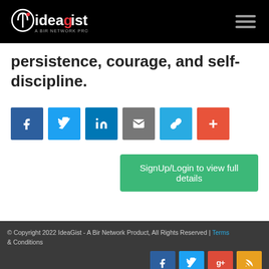ideagist — A Bir Network Product (logo and navigation)
persistence, courage, and self-discipline.
[Figure (infographic): Social share buttons: Facebook (blue), Twitter (light blue), LinkedIn (dark blue), Email (grey), Link (blue), More/Plus (orange-red)]
SignUp/Login to view full details
© Copyright 2022 IdeaGist - A Bir Network Product, All Rights Reserved | Terms & Conditions